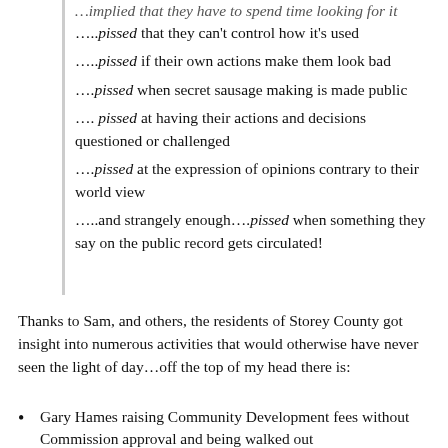….pissed that they can't control how it's used
…..pissed if their own actions make them look bad
….pissed when secret sausage making is made public
…. pissed at having their actions and decisions questioned or challenged
….pissed at the expression of opinions contrary to their world view
…..and strangely enough….pissed when something they say on the public record gets circulated!
Thanks to Sam, and others, the residents of Storey County got insight into numerous activities that would otherwise have never seen the light of day…off the top of my head there is:
Gary Hames raising Community Development fees without Commission approval and being walked out